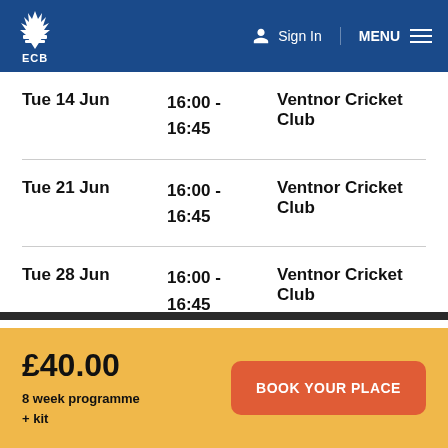ECB — Sign In | MENU
| Date | Time | Venue |
| --- | --- | --- |
| Tue 14 Jun | 16:00 - 16:45 | Ventnor Cricket Club |
| Tue 21 Jun | 16:00 - 16:45 | Ventnor Cricket Club |
| Tue 28 Jun | 16:00 - 16:45 | Ventnor Cricket Club |
| Tue 05 Jul | 16:00 - 16:45 | Ventnor Cricket Club |
£40.00
8 week programme + kit
BOOK YOUR PLACE